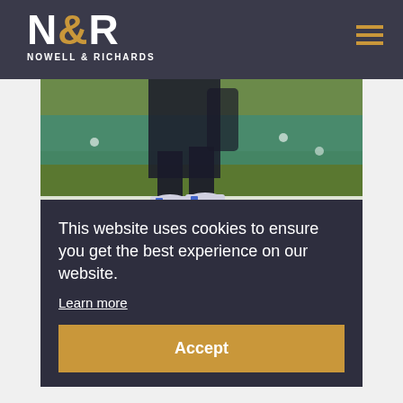N&R NOWELL & RICHARDS
[Figure (photo): Tennis player's legs on a grass court (Wimbledon-style), wearing white shoes with blue accents, with teal/green background and court lines visible]
This website uses cookies to ensure you get the best experience on our website.
Learn more
Accept